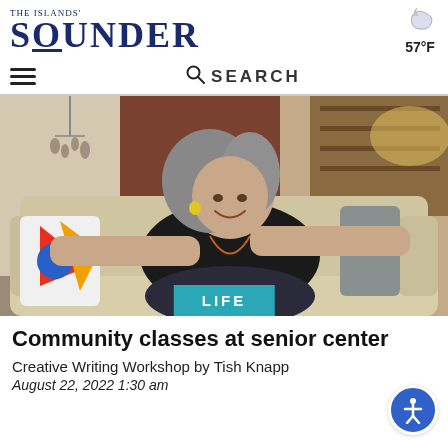The Islands' Sounder — 57°F
[Figure (photo): Woman with gray hair sitting relaxed on a cream sofa, smiling, wearing a black t-shirt and patterned pants, holding a colorful pillow. Background shows a rustic room with bookshelves, a wind chime, and warm lighting.]
Community classes at senior center
Creative Writing Workshop by Tish Knapp
August 22, 2022 1:30 am